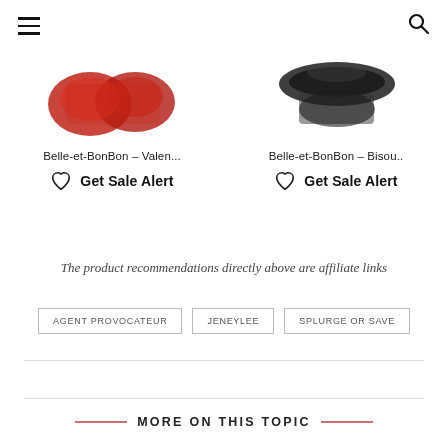Menu | Search
[Figure (photo): Cropped product image of Belle-et-BonBon Valentine item in red]
Belle-et-BonBon - Valen...
Get Sale Alert
[Figure (photo): Cropped product image of Belle-et-BonBon Bisou item in black]
Belle-et-BonBon - Bisou..
Get Sale Alert
The product recommendations directly above are affiliate links
AGENT PROVOCATEUR
JENEYLEE
SPLURGE OR SAVE
MORE ON THIS TOPIC